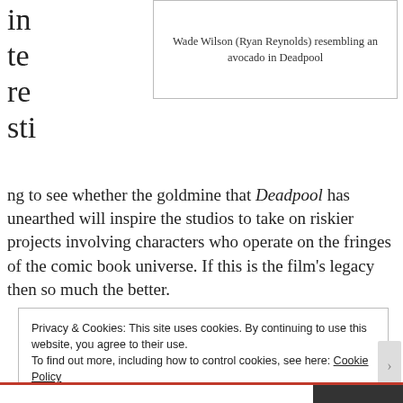[Figure (photo): Caption box showing: Wade Wilson (Ryan Reynolds) resembling an avocado in Deadpool]
Wade Wilson (Ryan Reynolds) resembling an avocado in Deadpool
in
te
re
sti
ng to see whether the goldmine that Deadpool has unearthed will inspire the studios to take on riskier projects involving characters who operate on the fringes of the comic book universe. If this is the film’s legacy then so much the better.
Privacy & Cookies: This site uses cookies. By continuing to use this website, you agree to their use.
To find out more, including how to control cookies, see here: Cookie Policy
Close and accept